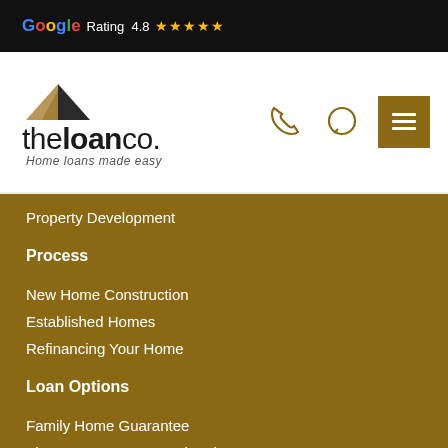[Figure (screenshot): Google rating badge showing 4.8 stars with Google logo and five gold stars on black background]
[Figure (logo): theloanco. logo with roof/house icon and tagline 'Home loans made easy', plus phone, chat, and menu icons]
Property Development
Process
New Home Construction
Established Homes
Refinancing Your Home
Loan Options
Family Home Guarantee
First Home Loan Deposit Scheme
Keystart Home Loans (WA Only)
Construction Home Loans
Variable Rate Home Loans
Fixed Rate Home Loans